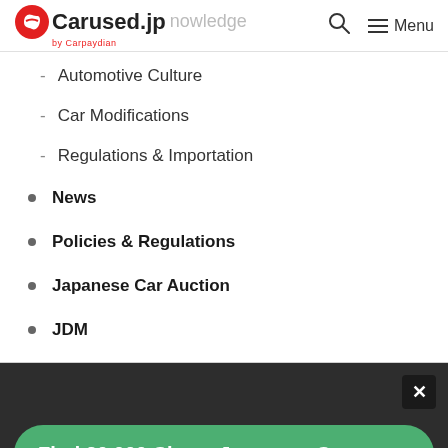Carused.jp by Carpayden — Knowledge [search] [Menu]
- Automotive Culture
- Car Modifications
- Regulations & Importation
News
Policies & Regulations
Japanese Car Auction
JDM
Find 20,000 Cheap Japanese Cars >